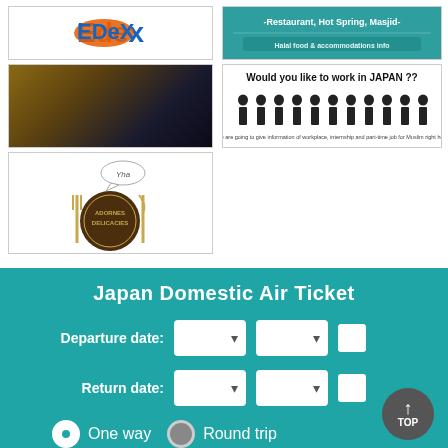[Figure (logo): EDeX logo with blue and orange stylized letters]
[Figure (infographic): Hot Spring, Restaurant, Masjid promotional banner with teal background]
[Figure (photo): Airport Information banner with airport interior photo and white text]
[Figure (infographic): Would you like to work in JAPAN? banner with silhouettes of people]
[Figure (logo): Adorned Delicacies restaurant logo - dark circular emblem with fork and knife]
Japan Domestic Air Ticket
Departure date:
Return date:
One way
Round trip